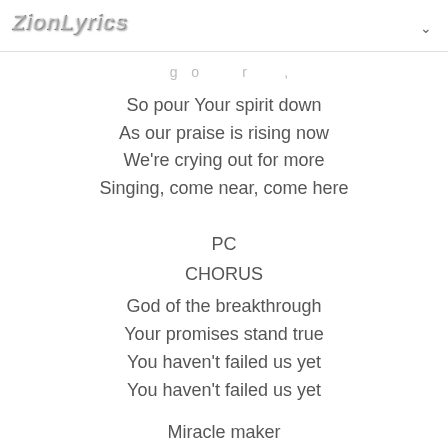ZionLyrics
So pour Your spirit down
As our praise is rising now
We're crying out for more
Singing, come near, come here
PC
CHORUS
God of the breakthrough
Your promises stand true
You haven't failed us yet
You haven't failed us yet
Miracle maker
Our hope and our Savior
You haven't failed us yet